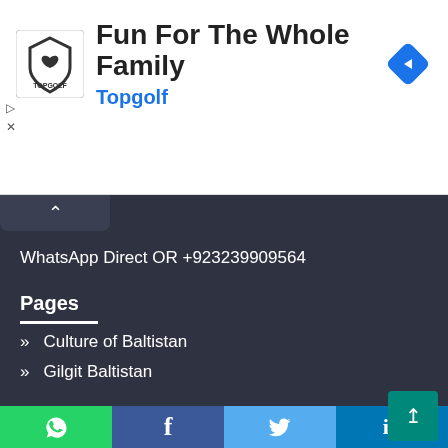[Figure (other): Topgolf advertisement banner with logo, title 'Fun For The Whole Family', subtitle 'Topgolf', and a blue navigation diamond icon]
WhatsApp Direct OR +923239909564
Pages
» Culture of Baltistan
» Gilgit Baltistan
» History of Baltistan
» Hotels
» Post as a Guest